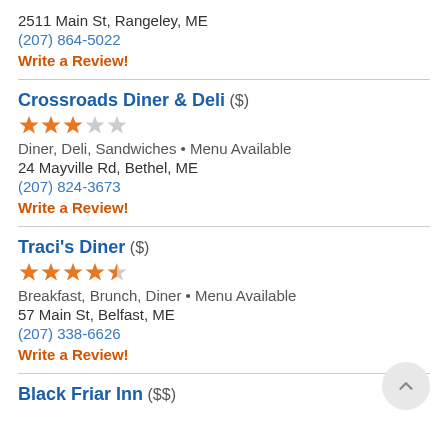2511 Main St, Rangeley, ME
(207) 864-5022
Write a Review!
Crossroads Diner & Deli ($)
[Figure (other): 3 out of 5 stars rating — 3 filled orange stars, 2 empty gray stars]
Diner, Deli, Sandwiches • Menu Available
24 Mayville Rd, Bethel, ME
(207) 824-3673
Write a Review!
Traci's Diner ($)
[Figure (other): 4.5 out of 5 stars rating — 4 filled orange stars, 1 half-filled star]
Breakfast, Brunch, Diner • Menu Available
57 Main St, Belfast, ME
(207) 338-6626
Write a Review!
Black Friar Inn ($$)